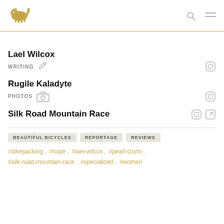[Figure (logo): Golden tiger/leopard logo illustration]
Lael Wilcox
WRITING
Rugile Kaladyte
PHOTOS
Silk Road Mountain Race
BEAUTIFUL BICYCLES
REPORTAGE
REVIEWS
#bikepacking , #hope , #lael-wilcox , #pearl-izumi , #silk-road-mountain-race , #specialized , #women